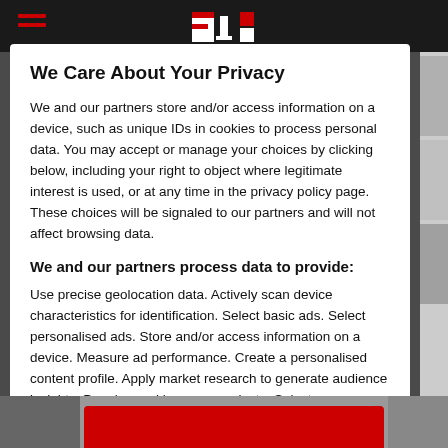F1 website header with navigation
We Care About Your Privacy
We and our partners store and/or access information on a device, such as unique IDs in cookies to process personal data. You may accept or manage your choices by clicking below, including your right to object where legitimate interest is used, or at any time in the privacy policy page. These choices will be signaled to our partners and will not affect browsing data.
We and our partners process data to provide:
Use precise geolocation data. Actively scan device characteristics for identification. Select basic ads. Select personalised ads. Store and/or access information on a device. Measure ad performance. Create a personalised content profile. Apply market research to generate audience insights. Develop and improve products. Select personalised content. Measure content performance. Create a personalised ads profile.
List of Partners (vendors)